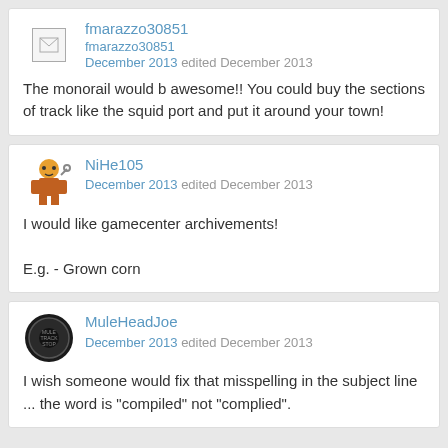fmarazzo30851
December 2013 edited December 2013
The monorail would b awesome!! You could buy the sections of track like the squid port and put it around your town!
NiHe105
December 2013 edited December 2013
I would like gamecenter archivements!

E.g. - Grown corn
MuleHeadJoe
December 2013 edited December 2013
I wish someone would fix that misspelling in the subject line ... the word is "compiled" not "complied".